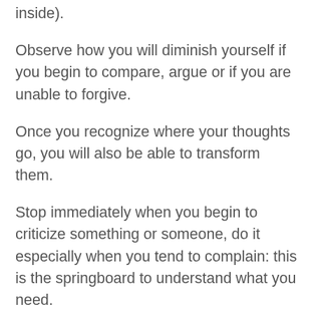inside).
Observe how you will diminish yourself if you begin to compare, argue or if you are unable to forgive.
Once you recognize where your thoughts go, you will also be able to transform them.
Stop immediately when you begin to criticize something or someone, do it especially when you tend to complain: this is the springboard to understand what you need.
The crucial question is always the same: “How can I really understand what I want?”
The part of you that is connected to your soul knows what you want, knows your